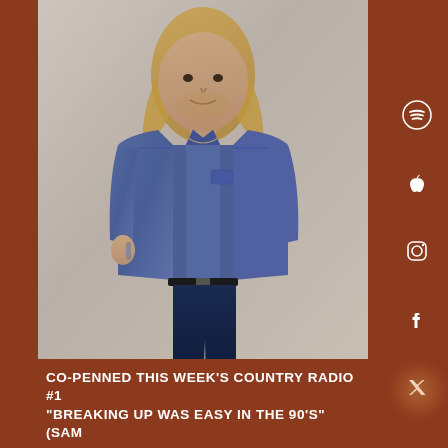[Figure (photo): A young man with shoulder-length blond hair wearing a blue windbreaker jacket over a white t-shirt and dark jeans, standing against a light beige/cream background, holding something small in one hand. The photo is set against a dark reddish-brown background.]
CO-PENNED THIS WEEK'S COUNTRY RADIO #1 "BREAKING UP WAS EASY IN THE 90'S" (SAM